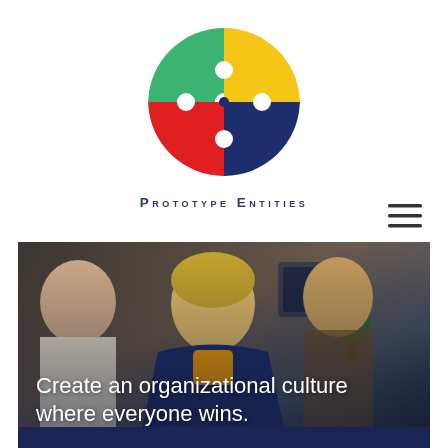[Figure (logo): Prototype Entities logo: circular puzzle made of four colored pieces — green (top-left), yellow (top-right), red (bottom-left), dark navy blue (bottom-right)]
Prototype Entities
[Figure (photo): Office team photo: smiling woman in blue blazer with yellow top, colleagues around her in a modern office setting, with plants and computer monitors in background]
Create an organizational culture where everyone wins.